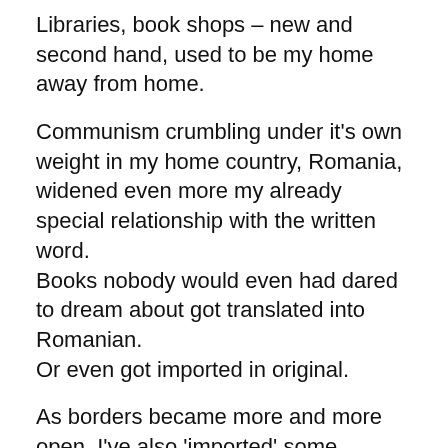Libraries, book shops – new and second hand, used to be my home away from home.
Communism crumbling under it's own weight in my home country, Romania, widened even more my already special relationship with the written word.
Books nobody would even had dared to dream about got translated into Romanian.
Or even got imported in original.
As borders became more and more open, I've also 'imported' some myself.
The honeymoon lasted for a while.
Only at some point I was no longer 'comfortable' in most bookshops. If anything, there was 'too much of it'. Too much of the good stuff, to much 'noise'… Not enough time to read everything I would have liked to… so I gave up.